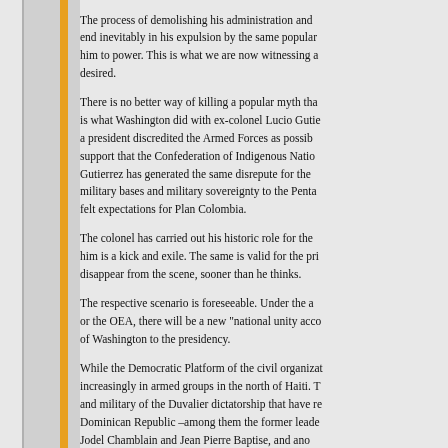The process of demolishing his administration and end inevitably in his expulsion by the same popular him to power. This is what we are now witnessing a desired.
There is no better way of killing a popular myth than is what Washington did with ex-colonel Lucio Gutie a president discredited the Armed Forces as possib support that the Confederation of Indigenous Natio Gutierrez has generated the same disrepute for the military bases and military sovereignty to the Penta felt expectations for Plan Colombia.
The colonel has carried out his historic role for the him is a kick and exile. The same is valid for the pri disappear from the scene, sooner than he thinks.
The respective scenario is foreseeable. Under the a or the OEA, there will be a new "national unity acco of Washington to the presidency.
While the Democratic Platform of the civil organizat increasingly in armed groups in the north of Haiti. T and military of the Duvalier dictatorship that have re Dominican Republic –among them the former leade Jodel Chamblain and Jean Pierre Baptise, and ano Aristide's paramilitary groups that have switched si
Therefore, in a cruel irony of history, Bush Sr.'s plan coup against Aristide, has now become absolutely r